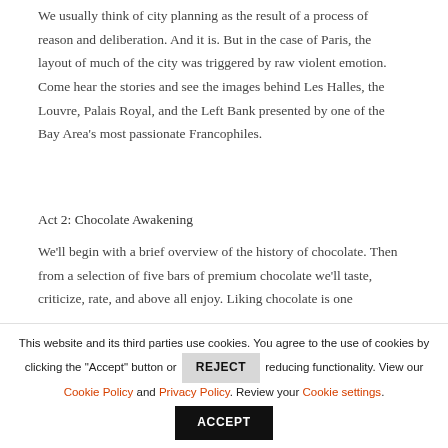We usually think of city planning as the result of a process of reason and deliberation. And it is. But in the case of Paris, the layout of much of the city was triggered by raw violent emotion. Come hear the stories and see the images behind Les Halles, the Louvre, Palais Royal, and the Left Bank presented by one of the Bay Area's most passionate Francophiles.
Act 2: Chocolate Awakening
We'll begin with a brief overview of the history of chocolate. Then from a selection of five bars of premium chocolate we'll taste, criticize, rate, and above all enjoy. Liking chocolate is one
This website and its third parties use cookies. You agree to the use of cookies by clicking the "Accept" button or REJECT reducing functionality. View our Cookie Policy and Privacy Policy. Review your Cookie settings.